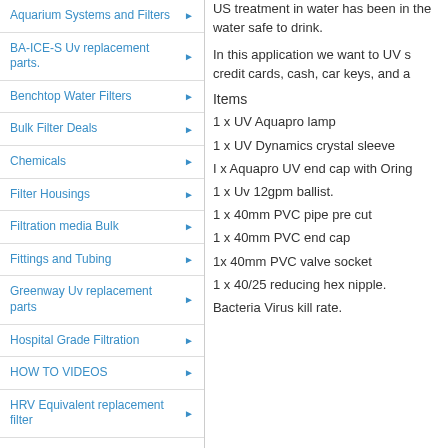Aquarium Systems and Filters
BA-ICE-S Uv replacement parts.
Benchtop Water Filters
Bulk Filter Deals
Chemicals
Filter Housings
Filtration media Bulk
Fittings and Tubing
Greenway Uv replacement parts
Hospital Grade Filtration
HOW TO VIDEOS
HRV Equivalent replacement filter
Industrial RO/ De-ionizing systems
orings
Ozone Sanitiser
US treatment in water has been in the water safe to drink.
In this application we want to UV s credit cards, cash, car keys, and a
Items
1 x UV Aquapro lamp
1 x UV Dynamics crystal sleeve
I x Aquapro UV end cap with Oring
1 x Uv 12gpm ballist.
1 x 40mm PVC pipe pre cut
1 x 40mm PVC end cap
1x 40mm PVC valve socket
1 x 40/25 reducing hex nipple.
Bacteria Virus kill rate.